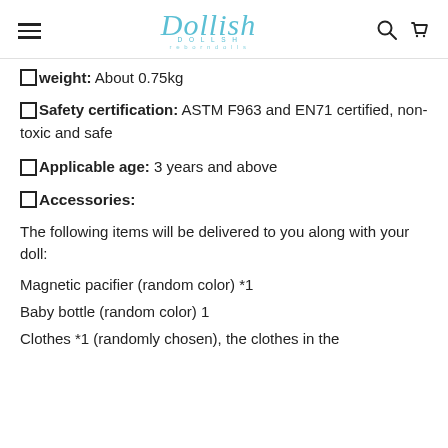Dollish — navigation header with hamburger menu, logo, search and cart icons
Weight: About 0.75kg
Safety certification: ASTM F963 and EN71 certified, non-toxic and safe
Applicable age: 3 years and above
Accessories:
The following items will be delivered to you along with your doll:
Magnetic pacifier (random color) *1
Baby bottle (random color) 1
Clothes *1 (randomly chosen), the clothes in the